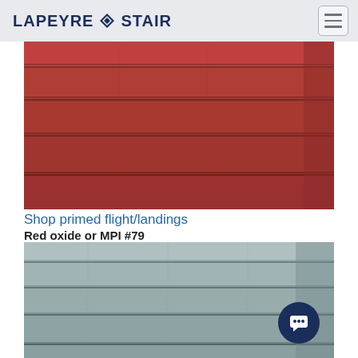LAPEYRE STAIR
[Figure (photo): Close-up photograph of red oxide primed steel stair steps/flight, showing the tread profile from the side, painted in dark red/rust color.]
Shop primed flight/landings
Red oxide or MPI #79
[Figure (photo): Close-up photograph of galvanized steel stair steps/flight, showing the tread profile from the side, with a metallic silver/grey surface finish.]